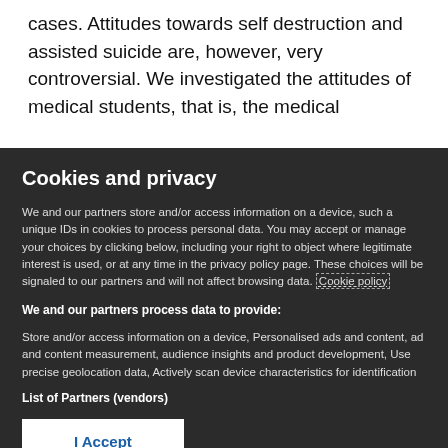cases. Attitudes towards self destruction and assisted suicide are, however, very controversial. We investigated the attitudes of medical students, that is, the medical
Cookies and privacy
We and our partners store and/or access information on a device, such a unique IDs in cookies to process personal data. You may accept or manage your choices by clicking below, including your right to object where legitimate interest is used, or at any time in the privacy policy page. These choices will be signaled to our partners and will not affect browsing data. Cookie policy
We and our partners process data to provide:
Store and/or access information on a device, Personalised ads and content, ad and content measurement, audience insights and product development, Use precise geolocation data, Actively scan device characteristics for identification
List of Partners (vendors)
I Accept